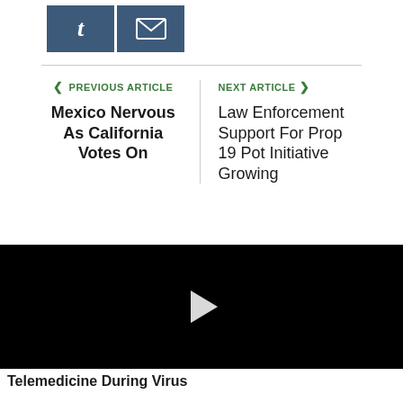[Figure (other): Social sharing buttons: Tumblr (t) and Email (envelope icon)]
< PREVIOUS ARTICLE
Mexico Nervous As California Votes On
NEXT ARTICLE >
Law Enforcement Support For Prop 19 Pot Initiative Growing
[Figure (other): Black video player with white play button triangle in the center]
Telemedicine During Virus